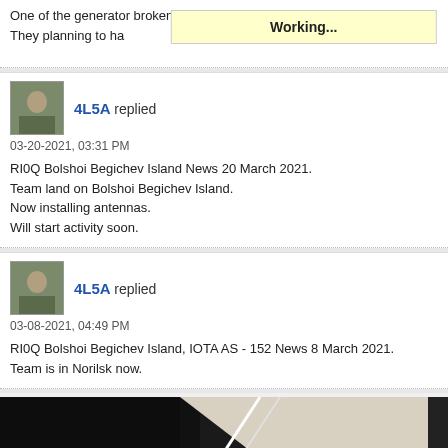One of the generator broken and they going to repair it today. They planning to ha[ve it working]...
4L5A replied
03-20-2021, 03:31 PM

RI0Q Bolshoi Begichev Island News 20 March 2021.
Team land on Bolshoi Begichev Island.
Now installing antennas.
Will start activity soon.
4L5A replied
03-08-2021, 04:49 PM

RI0Q Bolshoi Begichev Island, IOTA AS - 152 News 8 March 2021.
Team is in Norilsk now.
[Figure (photo): Partial photo of equipment/antenna against dark background, cropped at bottom of page]